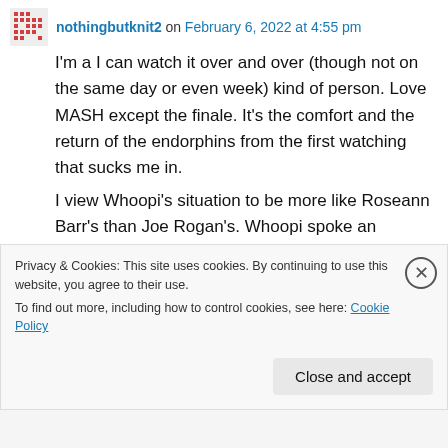nothingbutknit2 on February 6, 2022 at 4:55 pm
I'm a I can watch it over and over (though not on the same day or even week) kind of person. Love MASH except the finale. It's the comfort and the return of the endorphins from the first watching that sucks me in.
I view Whoopi's situation to be more like Roseann Barr's than Joe Rogan's. Whoopi spoke an ignorant statement and was given the opportunity to learn and atone. She got a two
Privacy & Cookies: This site uses cookies. By continuing to use this website, you agree to their use.
To find out more, including how to control cookies, see here: Cookie Policy